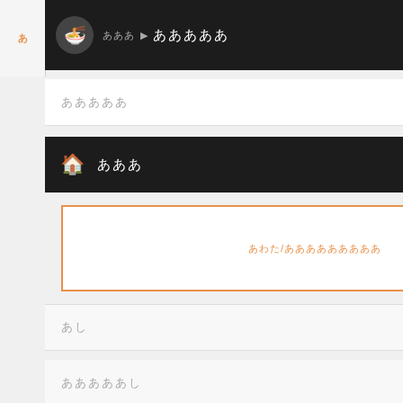[Figure (screenshot): Mobile app navigation menu screenshot showing a Japanese app interface with black header bars, menu items in Japanese characters, a LiveFans PUSH! row, an orange-bordered input box, and a partial right panel showing a teal profile card with 'makichobi' user, 'HIS IS MY UDOKAN?!' event text, '010/11/28' date, and '2022' text visible in sidebar]
ああ
あああああ
あああ
あわた/あああああああああ
あし
あああああし
LiveFans PUSH!
PUSH!🔒
あああああああし
あああし
makichobi ああ
HIS IS MY UDOKAN?!
010/11/28 @あああああ
あああ2022あああああああああああああああああ